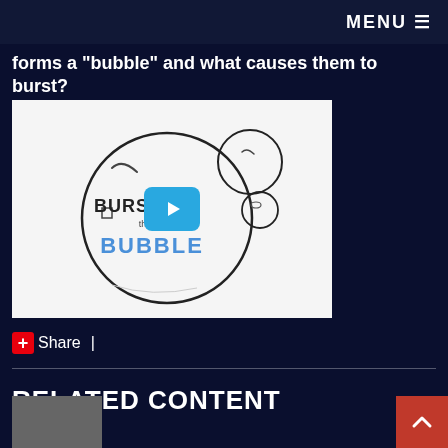MENU ☰
forms a "bubble" and what causes them to burst?
[Figure (screenshot): Video thumbnail showing hand-drawn bubble illustration with text 'BURSTING the BUBBLE' and a play button overlay]
+ Share  |
RELATED CONTENT